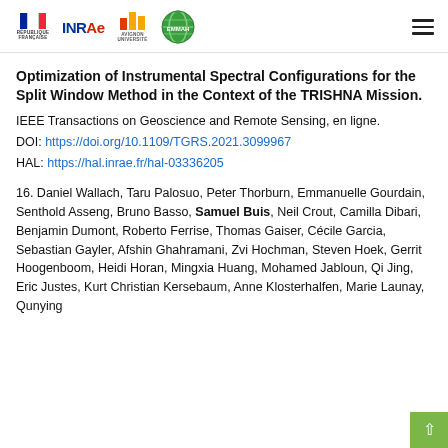[Figure (logo): Header bar with logos: République Française flag, INRAE, Avignon Université, EMMAH research unit, and a hamburger menu icon on the right]
Optimization of Instrumental Spectral Configurations for the Split Window Method in the Context of the TRISHNA Mission.
IEEE Transactions on Geoscience and Remote Sensing, en ligne.
DOI: https://doi.org/10.1109/TGRS.2021.3099967
HAL: https://hal.inrae.fr/hal-03336205
16. Daniel Wallach, Taru Palosuo, Peter Thorburn, Emmanuelle Gourdain, Senthold Asseng, Bruno Basso, Samuel Buis, Neil Crout, Camilla Dibari, Benjamin Dumont, Roberto Ferrise, Thomas Gaiser, Cécile Garcia, Sebastian Gayler, Afshin Ghahramani, Zvi Hochman, Steven Hoek, Gerrit Hoogenboom, Heidi Horan, Mingxia Huang, Mohamed Jabloun, Qi Jing, Eric Justes, Kurt Christian Kersebaum, Anne Klosterhalfen, Marie Launay, Qunying